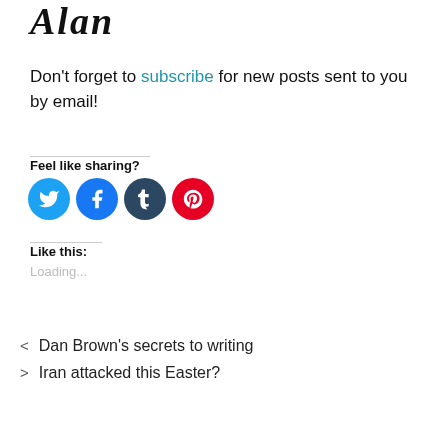[Figure (illustration): Handwritten cursive signature reading 'Alan']
Don't forget to subscribe for new posts sent to you by email!
Feel like sharing?
[Figure (infographic): Four circular social share buttons: Twitter (light blue), Facebook (blue), Tumblr (dark teal), Pinterest (red)]
Like this:
Loading...
< Dan Brown's secrets to writing
> Iran attacked this Easter?